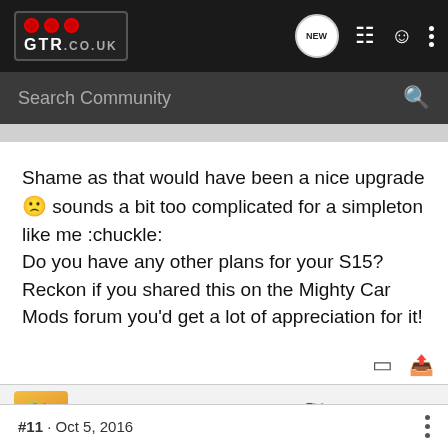GTR.co.uk navigation header with logo, NEW button, list icon, user icon, and more options
Search Community
Shame as that would have been a nice upgrade 🙁 sounds a bit too complicated for a simpleton like me :chuckle:
Do you have any other plans for your S15? Reckon if you shared this on the Mighty Car Mods forum you'd get a lot of appreciation for it!
Bennyboy1984 · Registered 🇬🇧
Joined Jul 26, 2009 · 1,070 Posts
#11 · Oct 5, 2016